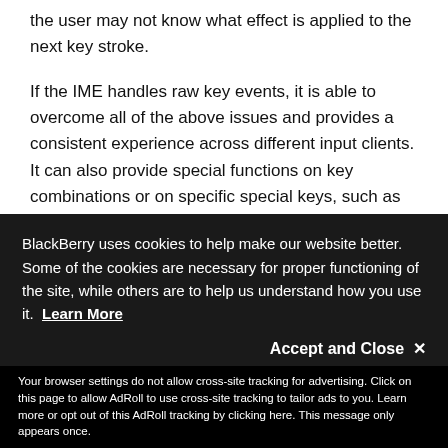the user may not know what effect is applied to the next key stroke.
If the IME handles raw key events, it is able to overcome all of the above issues and provides a consistent experience across different input clients. It can also provide special functions on key combinations or on specific special keys, such as showing an on-screen symbol keyboard when pressing the sym key.
BlackBerry uses cookies to help make our website better. Some of the cookies are necessary for proper functioning of the site, while others are to help us understand how you use it. Learn More
Accept and Close ✕
Your browser settings do not allow cross-site tracking for advertising. Click on this page to allow AdRoll to use cross-site tracking to tailor ads to you. Learn more or opt out of this AdRoll tracking by clicking here. This message only appears once.